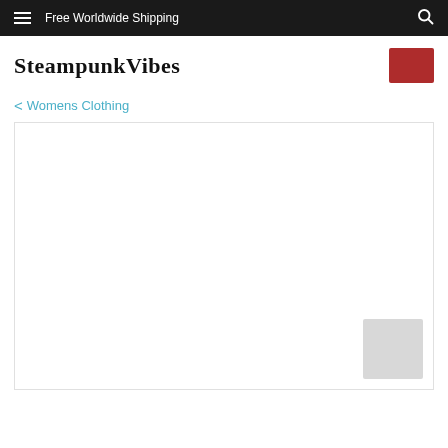Free Worldwide Shipping
SteampunkVibes
< Womens Clothing
[Figure (photo): Large white content area with a small grey thumbnail placeholder in the bottom right corner]